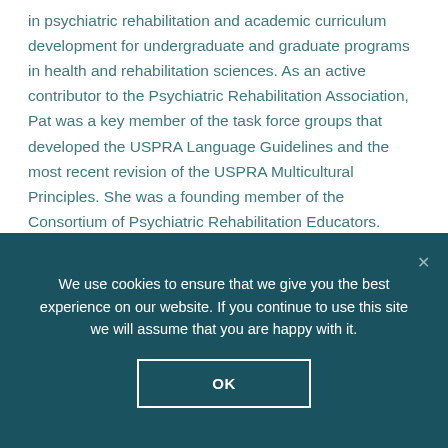in psychiatric rehabilitation and academic curriculum development for undergraduate and graduate programs in health and rehabilitation sciences. As an active contributor to the Psychiatric Rehabilitation Association, Pat was a key member of the task force groups that developed the USPRA Language Guidelines and the most recent revision of the USPRA Multicultural Principles. She was a founding member of the Consortium of Psychiatric Rehabilitation Educators.
We use cookies to ensure that we give you the best experience on our website. If you continue to use this site we will assume that you are happy with it.
OK